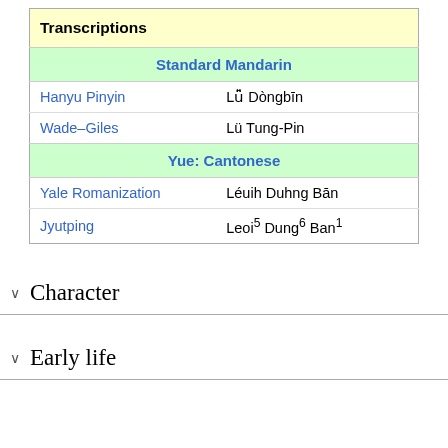|  |  |
| --- | --- |
| Transcriptions |  |
| Standard Mandarin |  |
| Hanyu Pinyin | Lǚ Dòngbīn |
| Wade–Giles | Lü Tung-Pin |
| Yue: Cantonese |  |
| Yale Romanization | Léuih Duhng Bān |
| Jyutping | Leoi⁵ Dung⁶ Ban¹ |
Character
Early life